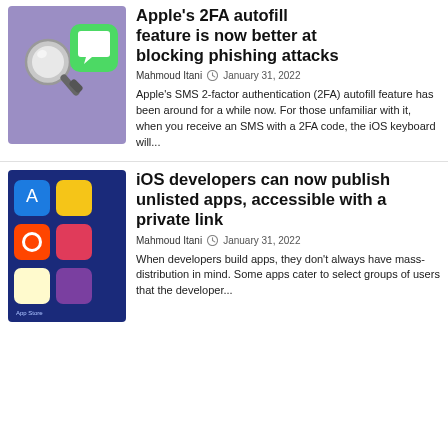[Figure (illustration): Purple background with magnifying glass icon and green Messages app icon]
Apple's 2FA autofill feature is now better at blocking phishing attacks
Mahmoud Itani  January 31, 2022
Apple's SMS 2-factor authentication (2FA) autofill feature has been around for a while now. For those unfamiliar with it, when you receive an SMS with a 2FA code, the iOS keyboard will...
[Figure (photo): Photo of app icons on a blue background including App Store, Reddit, and other apps]
iOS developers can now publish unlisted apps, accessible with a private link
Mahmoud Itani  January 31, 2022
When developers build apps, they don't always have mass-distribution in mind. Some apps cater to select groups of users that the developer...